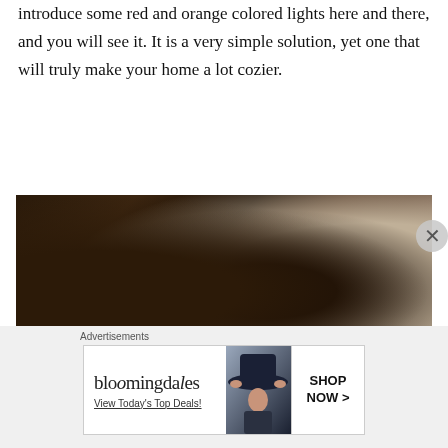introduce some red and orange colored lights here and there, and you will see it. It is a very simple solution, yet one that will truly make your home a lot cozier.
[Figure (photo): Dark interior room photo with warm brown tones, showing a dimly lit space with a wooden element and soft blurred background]
Advertisements
[Figure (other): Bloomingdale's advertisement banner reading 'bloomingdales View Today's Top Deals!' with a woman in a wide-brim hat and 'SHOP NOW >' button]